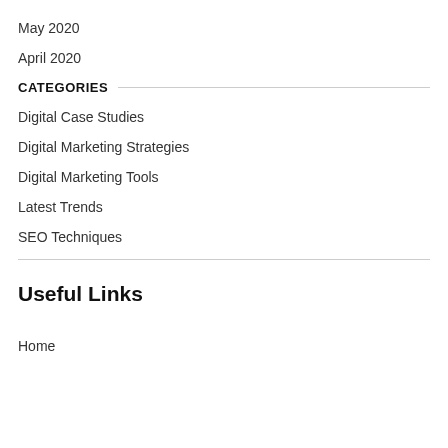May 2020
April 2020
CATEGORIES
Digital Case Studies
Digital Marketing Strategies
Digital Marketing Tools
Latest Trends
SEO Techniques
Useful Links
Home